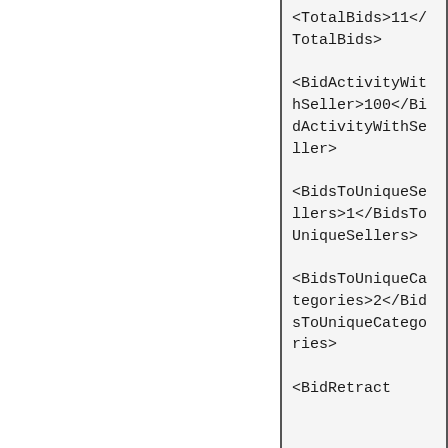<TotalBids>11</TotalBids>

<BidActivityWithSeller>100</BidActivityWithSeller>

<BidsToUniqueSellers>1</BidsToUniqueSellers>

<BidsToUniqueCategories>2</BidsToUniqueCategories>

<BidRetract